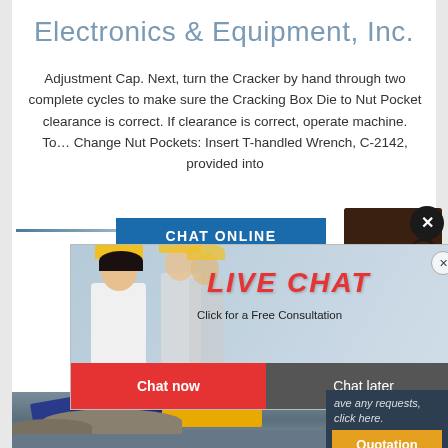Electronics & Equipment, Inc.
Adjustment Cap. Next, turn the Cracker by hand through two complete cycles to make sure the Cracking Box Die to Nut Pocket clearance is correct. If clearance is correct, operate machine. To… Change Nut Pockets: Insert T-handled Wrench, C-2142, provided into
[Figure (screenshot): Live chat popup with workers in hard hats and a customer service agent, showing 'CHAT ONLINE' banner, 'LIVE CHAT - Click for a Free Consultation', Chat now / Chat later buttons, and a right sidebar with Quotation, Enquiry, and email limingjlmofen@sina.com links]
ave any requests, click here.
Quotation
Enquiry
limingjlmofen@sina.com